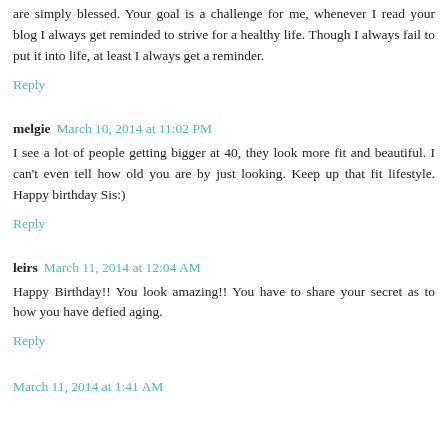are simply blessed. Your goal is a challenge for me, whenever I read your blog I always get reminded to strive for a healthy life. Though I always fail to put it into life, at least I always get a reminder.
Reply
melgie  March 10, 2014 at 11:02 PM
I see a lot of people getting bigger at 40, they look more fit and beautiful. I can't even tell how old you are by just looking. Keep up that fit lifestyle. Happy birthday Sis:)
Reply
leirs  March 11, 2014 at 12:04 AM
Happy Birthday!! You look amazing!! You have to share your secret as to how you have defied aging.
Reply
March 11, 2014 at 1:41 AM